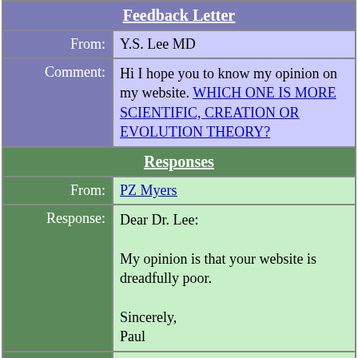Feedback Letter
| From: | Y.S. Lee MD |
| Comment: | Hi I hope you to know my opinion on my website. WHICH ONE IS MORE SCIENTIFIC, CREATION OR EVOLUTION THEORY? |
| Responses |  |
| From: | PZ Myers |
| Response: | Dear Dr. Lee:

My opinion is that your website is dreadfully poor.

Sincerely,
Paul |
| From: | Bob Patterson |
| Response: | Dear Dr. Lee,

Websites should, I suppose, be |